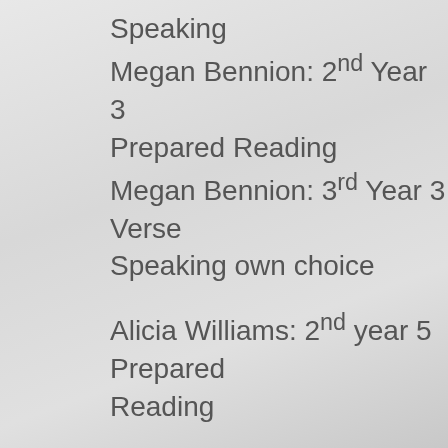Speaking
Megan Bennion: 2nd Year 3 Prepared Reading
Megan Bennion: 3rd Year 3 Verse Speaking own choice
Alicia Williams: 2nd year 5 Prepared Reading
Suzy Keen: 1st Year 7 Verse speaking
Suzy Keen: 1st Year 7 Prepared reading